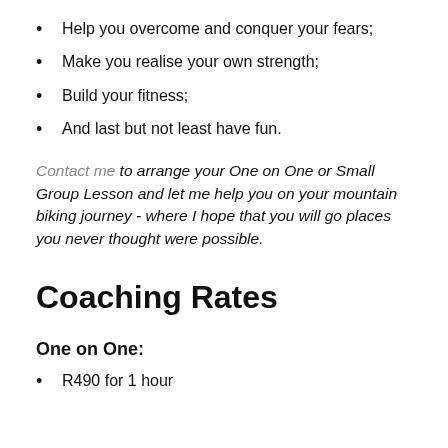Help you overcome and conquer your fears;
Make you realise your own strength;
Build your fitness;
And last but not least have fun.
Contact me to arrange your One on One or Small Group Lesson and let me help you on your mountain biking journey - where I hope that you will go places you never thought were possible.
Coaching Rates
One on One:
R490 for 1 hour